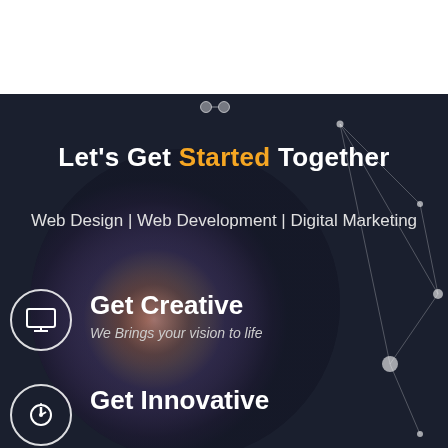Let's Get Started Together
Web Design | Web Development | Digital Marketing
Get Creative
We Brings your vision to life
Get Innovative